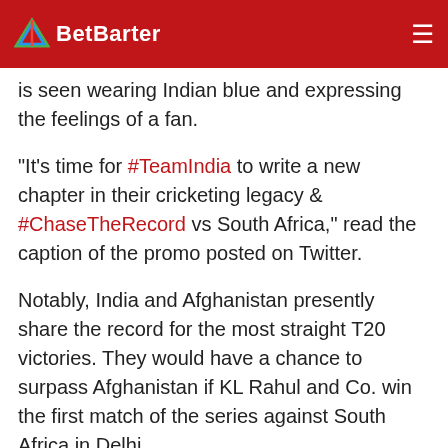BetBarter
is seen wearing Indian blue and expressing the feelings of a fan.
"It's time for #TeamIndia to write a new chapter in their cricketing legacy & #ChaseTheRecord vs South Africa," read the caption of the promo posted on Twitter.
Notably, India and Afghanistan presently share the record for the most straight T20 victories. They would have a chance to surpass Afghanistan if KL Rahul and Co. win the first match of the series against South Africa in Delhi.
Watch the promo here